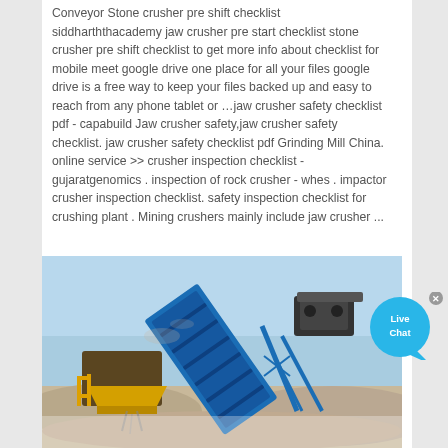Conveyor Stone crusher pre shift checklist siddharththacademy jaw crusher pre start checklist stone crusher pre shift checklist to get more info about checklist for mobile meet google drive one place for all your files google drive is a free way to keep your files backed up and easy to reach from any phone tablet or …jaw crusher safety checklist pdf - capabuild Jaw crusher safety,jaw crusher safety checklist. jaw crusher safety checklist pdf Grinding Mill China. online service >> crusher inspection checklist - gujaratgenomics . inspection of rock crusher - whes . impactor crusher inspection checklist. safety inspection checklist for crushing plant . Mining crushers mainly include jaw crusher ...
[Figure (photo): Outdoor photograph of an industrial stone crushing plant with a blue conveyor belt system elevated at an angle, machinery at left with yellow components, and crushed stone/gravel piles in the foreground. Blue sky background.]